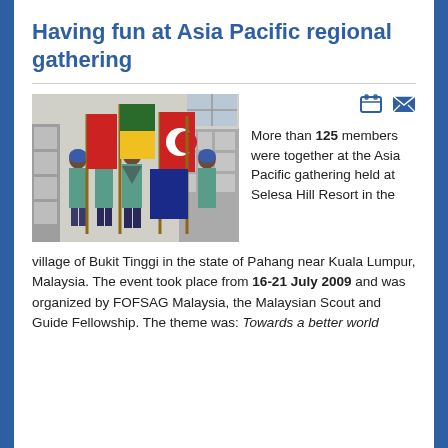Having fun at Asia Pacific regional gathering
[Figure (photo): Group of young scouts in teal uniforms holding colorful flags (red, yellow/green, red and white crescent) indoors at what appears to be a hall or gymnasium.]
More than 125 members were together at the Asia Pacific gathering held at Selesa Hill Resort in the village of Bukit Tinggi in the state of Pahang near Kuala Lumpur, Malaysia. The event took place from 16-21 July 2009 and was organized by FOFSAG Malaysia, the Malaysian Scout and Guide Fellowship. The theme was: Towards a better world